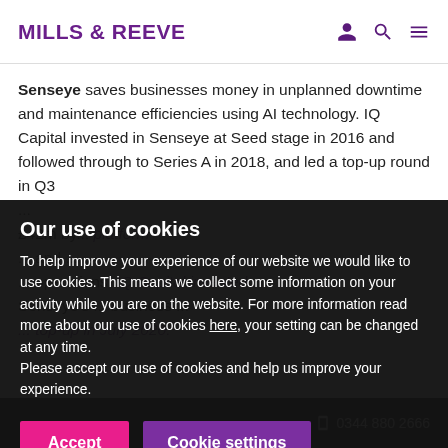MILLS & REEVE
Senseye saves businesses money in unplanned downtime and maintenance efficiencies using AI technology. IQ Capital invested in Senseye at Seed stage in 2016 and followed through to Series A in 2018, and led a top-up round in Q3 ... £42m by ... platform ... and ... operations. IQ Capital invested ... Senseye's ... business ... top-up in July 2020.
Our use of cookies
To help improve your experience of our website we would like to use cookies. This means we collect some information on your activity while you are on the website. For more information read more about our use of cookies here, your setting can be changed at any time.
Please accept our use of cookies and help us improve your experience.
Accept | Cookie settings
0344 880 2666